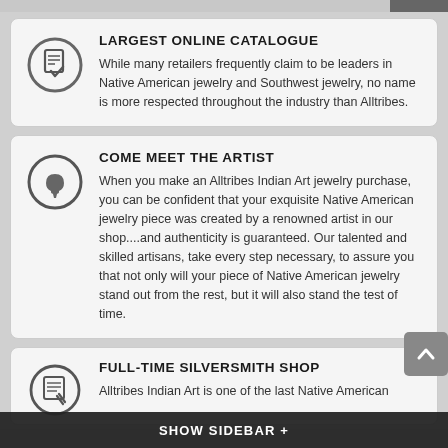LARGEST ONLINE CATALOGUE
While many retailers frequently claim to be leaders in Native American jewelry and Southwest jewelry, no name is more respected throughout the industry than Alltribes.
COME MEET THE ARTIST
When you make an Alltribes Indian Art jewelry purchase, you can be confident that your exquisite Native American jewelry piece was created by a renowned artist in our shop....and authenticity is guaranteed. Our talented and skilled artisans, take every step necessary, to assure you that not only will your piece of Native American jewelry stand out from the rest, but it will also stand the test of time.
FULL-TIME SILVERSMITH SHOP
Alltribes Indian Art is one of the last Native American
SHOW SIDEBAR +